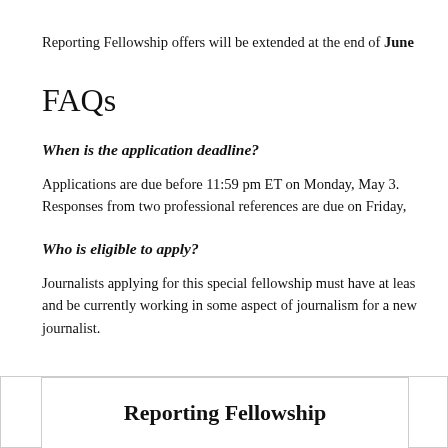Reporting Fellowship offers will be extended at the end of June
FAQs
When is the application deadline?
Applications are due before 11:59 pm ET on Monday, May 3. Responses from two professional references are due on Friday,
Who is eligible to apply?
Journalists applying for this special fellowship must have at least and be currently working in some aspect of journalism for a new journalist.
Reporting Fellowship